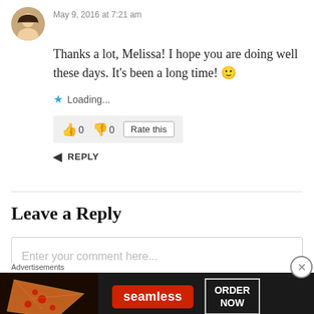May 9, 2016 at 7:21 am
Thanks a lot, Melissa! I hope you are doing well these days. It's been a long time! 🙂
Loading...
👍 0  👎 0  Rate this
REPLY
Leave a Reply
Enter your comment here...
Advertisements
[Figure (photo): Seamless food delivery advertisement banner with pizza image, seamless logo in red, and ORDER NOW button]